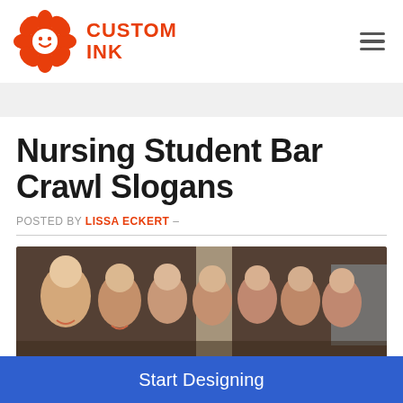[Figure (logo): Custom Ink logo with orange flower/octopus mascot and CUSTOM INK text in orange]
Nursing Student Bar Crawl Slogans
POSTED BY LISSA ECKERT –
[Figure (photo): Group photo of smiling young women at a bar crawl event, indoors with brick wall and column in background]
Start Designing